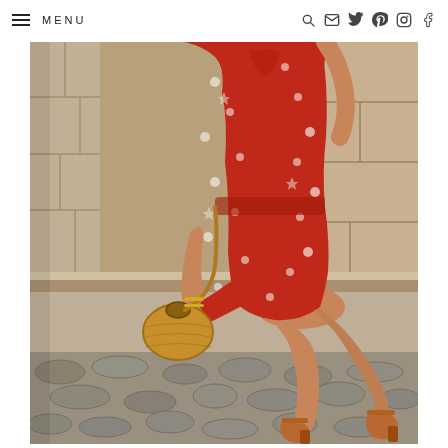MENU — navigation bar with search, email, twitter, pinterest, instagram, facebook icons
[Figure (photo): A woman wearing a red floral short-sleeve wrap dress, sitting on a stone wall. She holds a round woven rattan crossbody bag and wears tan block-heel sandals. The background shows rustic stone walls and cobblestone pavement, suggesting a Mediterranean setting.]